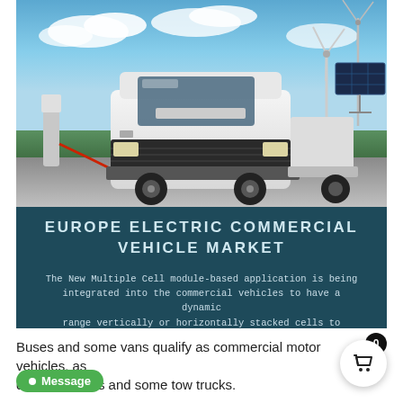[Figure (photo): White electric semi-truck at a charging station with wind turbines and solar panels in the background against a blue sky. The truck is plugged in with a red charging cable.]
EUROPE ELECTRIC COMMERCIAL VEHICLE MARKET
The New Multiple Cell module-based application is being integrated into the commercial vehicles to have a dynamic range vertically or horizontally stacked cells to integrate into vehicle design vertically for trucks
Buses and some vans qualify as commercial motor vehicles, as do large trucks and some tow trucks.